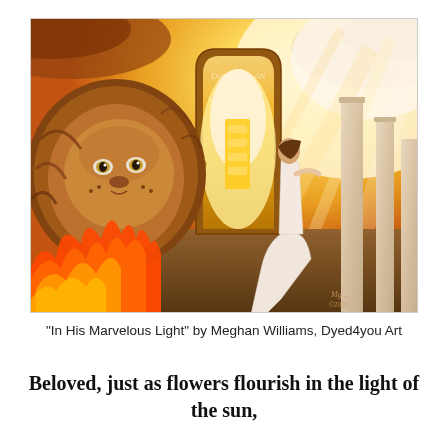[Figure (illustration): Fantasy digital painting titled 'In His Marvelous Light' showing a large majestic lion on the left with flames below, a woman in a flowing white dress reaching toward a glowing doorway/gate in the center-right, with warm golden divine light streaming from the upper right. Marble columns visible on the right. A question mark shaped door frame in the center. Watermark reads 'Dyed4you Art'.]
“In His Marvelous Light” by Meghan Williams, Dyed4you Art
Beloved, just as flowers flourish in the light of the sun,